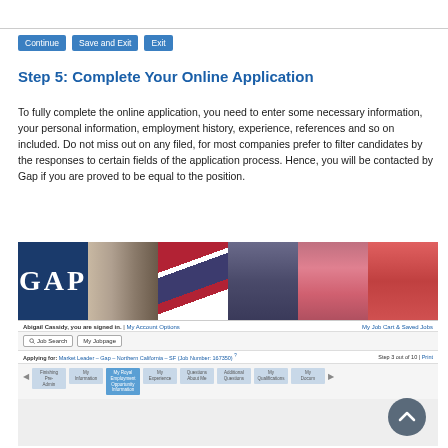[Figure (screenshot): Navigation buttons: Continue, Save and Exit, Exit]
Step 5: Complete Your Online Application
To fully complete the online application, you need to enter some necessary information, your personal information, employment history, experience, references and so on included. Do not miss out on any filed, for most companies prefer to filter candidates by the responses to certain fields of the application process. Hence, you will be contacted by Gap if you are proved to be equal to the position.
[Figure (screenshot): Screenshot of Gap online job application portal showing the Gap banner with logo, navigation bar with Job Search and My Jobpage tabs, and application steps for Market Leader position in Northern California]